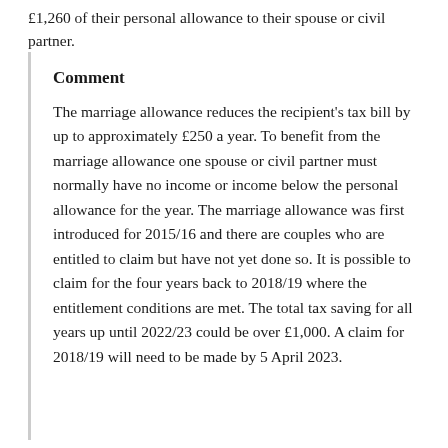£1,260 of their personal allowance to their spouse or civil partner.
Comment
The marriage allowance reduces the recipient's tax bill by up to approximately £250 a year. To benefit from the marriage allowance one spouse or civil partner must normally have no income or income below the personal allowance for the year. The marriage allowance was first introduced for 2015/16 and there are couples who are entitled to claim but have not yet done so. It is possible to claim for the four years back to 2018/19 where the entitlement conditions are met. The total tax saving for all years up until 2022/23 could be over £1,000. A claim for 2018/19 will need to be made by 5 April 2023.